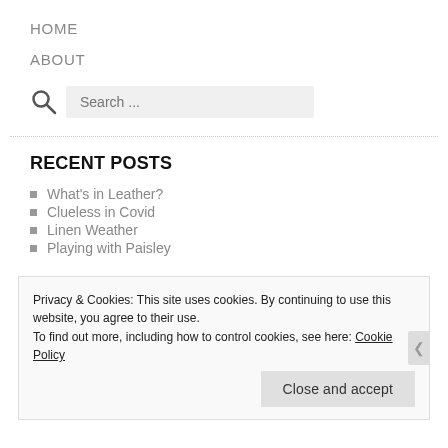HOME
ABOUT
Search ...
RECENT POSTS
What's in Leather?
Clueless in Covid
Linen Weather
Playing with Paisley
Privacy & Cookies: This site uses cookies. By continuing to use this website, you agree to their use. To find out more, including how to control cookies, see here: Cookie Policy
Close and accept